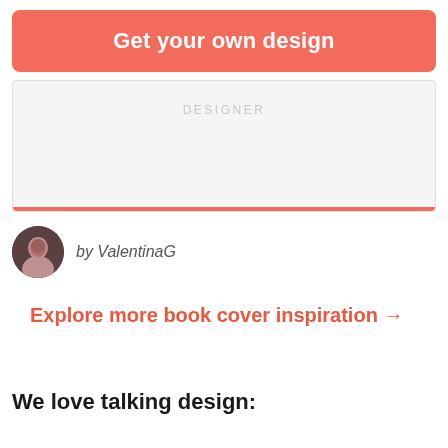Get your own design
[Figure (screenshot): Card preview area with faint watermark text and a red bar at the bottom]
by ValentinaG
Explore more book cover inspiration →
We love talking design: